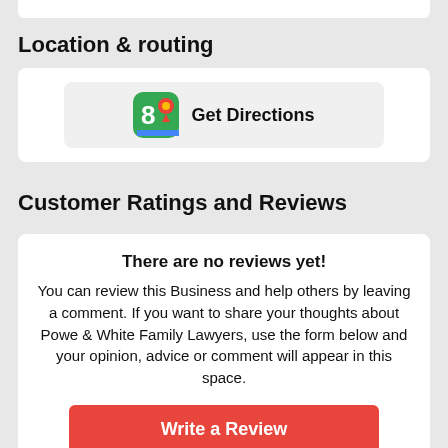Location & routing
[Figure (other): Get Directions button with Google Maps icon]
Customer Ratings and Reviews
There are no reviews yet! You can review this Business and help others by leaving a comment. If you want to share your thoughts about Powe & White Family Lawyers, use the form below and your opinion, advice or comment will appear in this space.
Write a Review
Powe & White Family Lawyers On the Web